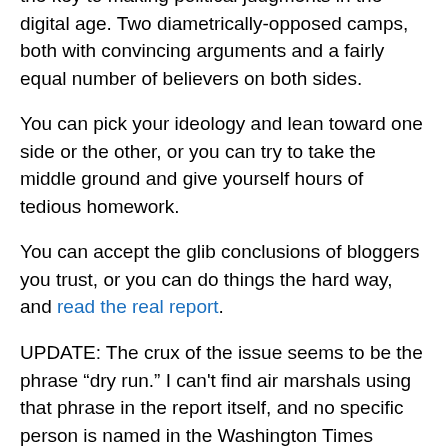the key to making political judgments in the digital age. Two diametrically-opposed camps, both with convincing arguments and a fairly equal number of believers on both sides.
You can pick your ideology and lean toward one side or the other, or you can try to take the middle ground and give yourself hours of tedious homework.
You can accept the glib conclusions of bloggers you trust, or you can do things the hard way, and read the real report.
UPDATE: The crux of the issue seems to be the phrase “dry run.” I can't find air marshals using that phrase in the report itself, and no specific person is named in the Washington Times quote. I found video of Annie Jacobsen talking about “the guys on the ground” — air marshals that